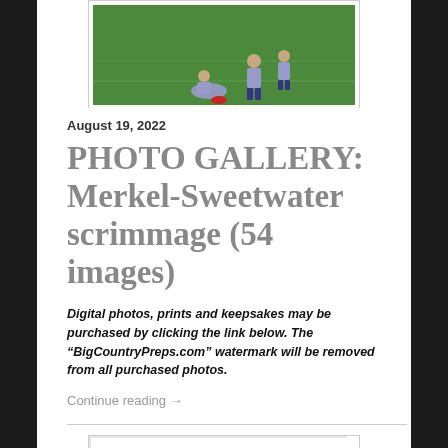[Figure (photo): Football players on a green field during scrimmage, players stretching or warming up]
August 19, 2022
PHOTO GALLERY: Merkel-Sweetwater scrimmage (54 images)
Digital photos, prints and keepsakes may be purchased by clicking the link below. The “BigCountryPreps.com” watermark will be removed from all purchased photos.
Continue reading →
[Figure (logo): COUNT logo in bold block letters, black outline with gray fill]